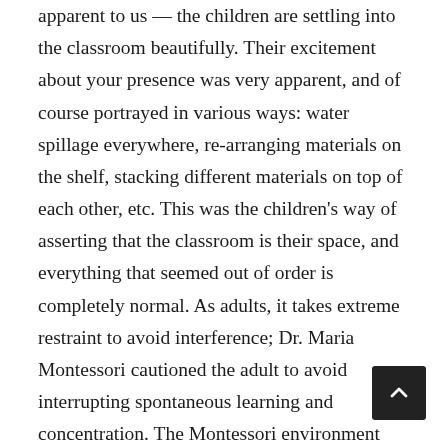apparent to us — the children are settling into the classroom beautifully. Their excitement about your presence was very apparent, and of course portrayed in various ways: water spillage everywhere, re-arranging materials on the shelf, stacking different materials on top of each other, etc. This was the children's way of asserting that the classroom is their space, and everything that seemed out of order is completely normal. As adults, it takes extreme restraint to avoid interference; Dr. Maria Montessori cautioned the adult to avoid interrupting spontaneous learning and concentration. The Montessori environment minimizes the child's need for adult assistance and maximizes self-regulated activity. Everything the child comes in contact with facilitates and maximizes independent learning